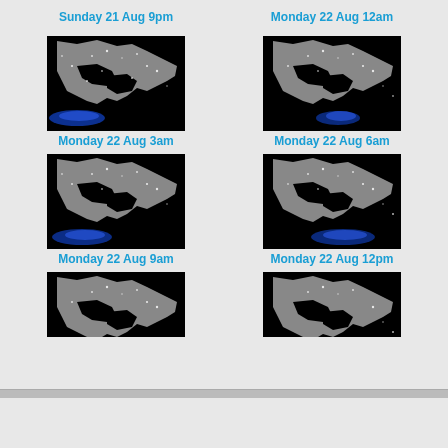Sunday 21 Aug 9pm
Monday 22 Aug 12am
[Figure (map): Satellite/radar map of Central America region at Monday 22 Aug 3am, showing dark ocean with white land outlines and blue light clusters]
Monday 22 Aug 3am
[Figure (map): Satellite/radar map of Central America region at Monday 22 Aug 6am, showing dark ocean with white land outlines and blue light clusters]
Monday 22 Aug 6am
[Figure (map): Satellite/radar map of Central America region at Monday 22 Aug 9am, showing dark ocean with white land outlines and blue light clusters]
Monday 22 Aug 9am
[Figure (map): Satellite/radar map of Central America region at Monday 22 Aug 12pm, showing dark ocean with white land outlines and blue light clusters]
Monday 22 Aug 12pm
[Figure (map): Satellite/radar map of Central America region (partial, bottom cut off)]
[Figure (map): Satellite/radar map of Central America region (partial, bottom cut off)]